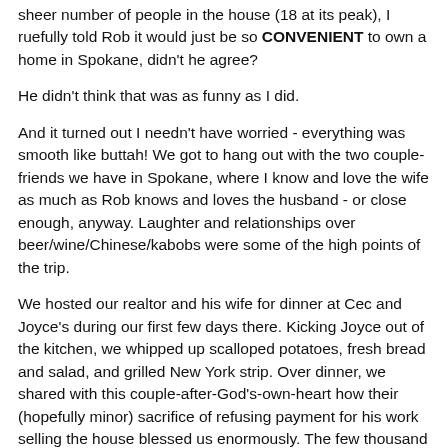sheer number of people in the house (18 at its peak), I ruefully told Rob it would just be so CONVENIENT to own a home in Spokane, didn't he agree?
He didn't think that was as funny as I did.
And it turned out I needn't have worried - everything was smooth like buttah! We got to hang out with the two couple-friends we have in Spokane, where I know and love the wife as much as Rob knows and loves the husband - or close enough, anyway. Laughter and relationships over beer/wine/Chinese/kabobs were some of the high points of the trip.
We hosted our realtor and his wife for dinner at Cec and Joyce's during our first few days there. Kicking Joyce out of the kitchen, we whipped up scalloped potatoes, fresh bread and salad, and grilled New York strip. Over dinner, we shared with this couple-after-God's-own-heart how their (hopefully minor) sacrifice of refusing payment for his work selling the house blessed us enormously. The few thousand we got as a result enabled us to pay off all (ALL) our debt,